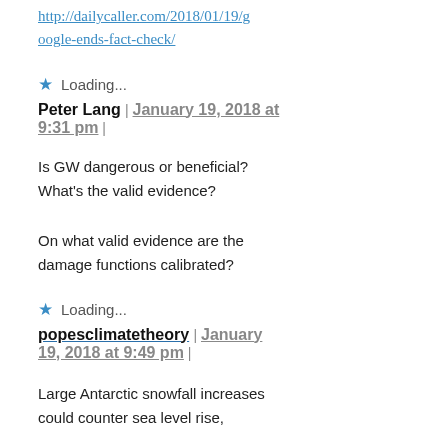http://dailycaller.com/2018/01/19/google-ends-fact-check/
Loading...
Peter Lang | January 19, 2018 at 9:31 pm |
Is GW dangerous or beneficial? What's the valid evidence?
On what valid evidence are the damage functions calibrated?
Loading...
popesclimatetheory | January 19, 2018 at 9:49 pm |
Large Antarctic snowfall increases could counter sea level rise,